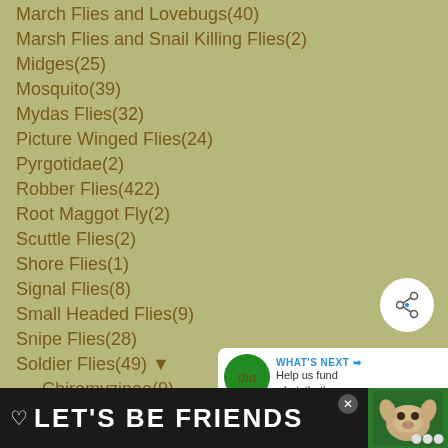March Flies and Lovebugs(40)
Marsh Flies and Snail Killing Flies(2)
Midges(25)
Mosquito(39)
Mydas Flies(32)
Picture Winged Flies(24)
Pyrgotidae(2)
Robber Flies(422)
Root Maggot Fly(2)
Scuttle Flies(2)
Shore Flies(1)
Signal Flies(8)
Small Headed Flies(9)
Snipe Flies(28)
Soldier Flies(49) ▼
Chiromyzinae(9)
Stiletto Flies(1)
Stilt Legged Flies(11)
Syrphid Flies(173)